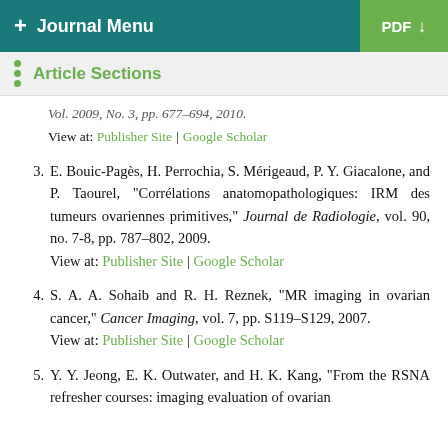+ Journal Menu | PDF ↓
Article Sections
Vol. 2009, No. 3, pp. 677–694, 2010.
View at: Publisher Site | Google Scholar
3. E. Bouic-Pagès, H. Perrochia, S. Mérigeaud, P. Y. Giacalone, and P. Taourel, "Corrélations anatomopathologiques: IRM des tumeurs ovariennes primitives," Journal de Radiologie, vol. 90, no. 7-8, pp. 787–802, 2009.
View at: Publisher Site | Google Scholar
4. S. A. A. Sohaib and R. H. Reznek, "MR imaging in ovarian cancer," Cancer Imaging, vol. 7, pp. S119–S129, 2007.
View at: Publisher Site | Google Scholar
5. Y. Y. Jeong, E. K. Outwater, and H. K. Kang, "From the RSNA refresher courses: imaging evaluation of ovarian